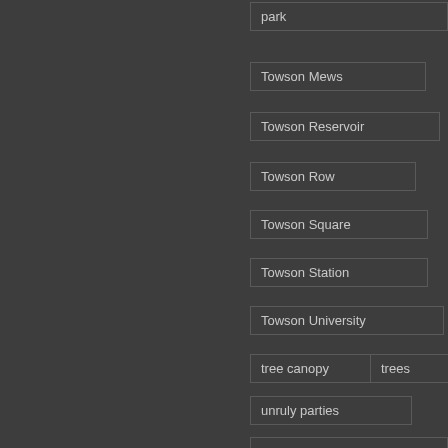park
Towson Mews
Towson Reservoir
Towson Row
Towson Square
Towson Station
Towson University
tree canopy
trees
unruly parties
water supply improvements
zoning